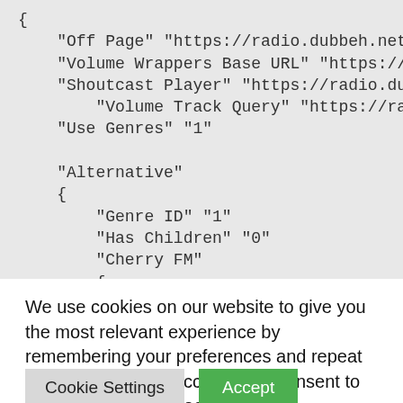{
    "Off Page" "https://radio.dubbeh.net/radi
    "Volume Wrappers Base URL" "https://ra
    "Shoutcast Player" "https://radio.dubbeh
        "Volume Track Query" "https://radio.du
    "Use Genres" "1"

    "Alternative"
    {
        "Genre ID" "1"
        "Has Children" "0"
        "Cherry FM"
        {
We use cookies on our website to give you the most relevant experience by remembering your preferences and repeat visits. By clicking “Accept”, you consent to the use of ALL the cookies.
Do not sell my personal information.
Cookie Settings
Accept